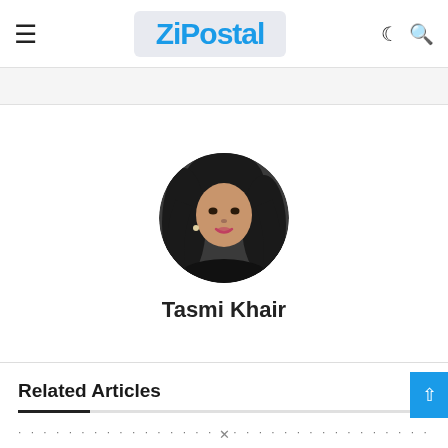ZiPostal
[Figure (photo): Circular profile photo of Tasmi Khair — a woman with dark hair, smiling, wearing dark clothing and earrings]
Tasmi Khair
Related Articles